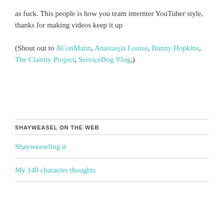as fuck. This people is how you team internter YouTuber style, thanks for making videos keep it up
(Shout out to AConMann, Anastasjia Louise, Bunny Hopkins, The Clairity Project, ServiceDog Vlog,)
SHAYWEASEL ON THE WEB
Shayweaseling it
My 140 character thoughts